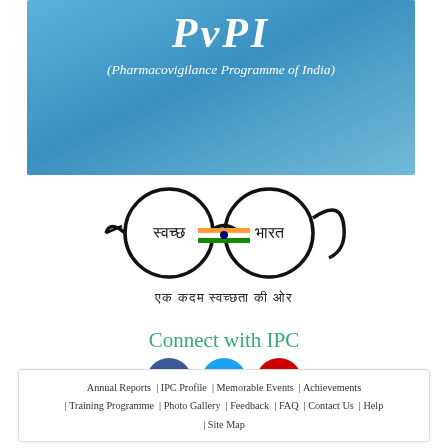[Figure (illustration): Blue gradient banner with PvPI logo text and subtitle (Pharmacovigilance Programme of India) in white italic text]
[Figure (logo): Swachh Bharat logo: two circles like spectacles with Hindi text स्वच्छ and भारत with Indian flag tricolor stripe, and tagline एक कदम स्वच्छता की ओर]
Connect with IPC
[Figure (illustration): Three social media icons: Facebook (blue), Twitter (blue), YouTube (red)]
Annual Reports | IPC Profile | Memorable Events | Achievements | Training Programme | Photo Gallery | Feedback | FAQ | Contact Us | Help | Site Map